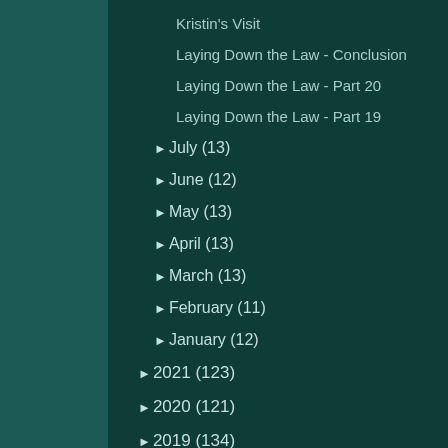Kristin's Visit
Laying Down the Law - Conclusion
Laying Down the Law - Part 20
Laying Down the Law - Part 19
► July (13)
► June (12)
► May (13)
► April (13)
► March (13)
► February (11)
► January (12)
► 2021 (123)
► 2020 (121)
► 2019 (134)
► 2018 (132)